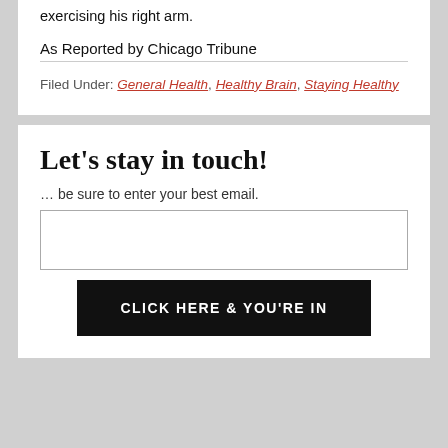exercising his right arm.
As Reported by Chicago Tribune
Filed Under: General Health, Healthy Brain, Staying Healthy
Let's stay in touch!
… be sure to enter your best email.
CLICK HERE & YOU'RE IN